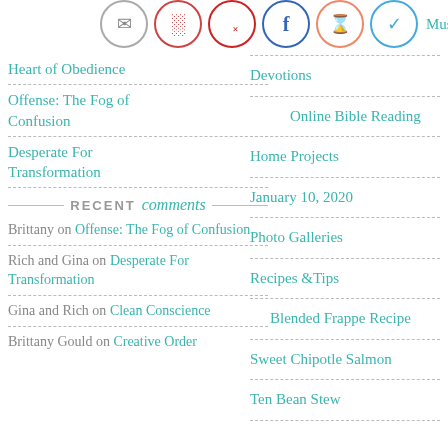[Figure (other): Row of social media icon circles: email, Instagram, Pinterest, Facebook, RSS, Twitter]
Heart of Obedience
Offense: The Fog of Confusion
Desperate For Transformation
RECENT comments
Brittany on Offense: The Fog of Confusion
Rich and Gina on Desperate For Transformation
Gina and Rich on Clean Conscience
Brittany Gould on Creative Order
Mushroom
Devotions
Online Bible Reading
Home Projects
January 10, 2020
Photo Galleries
Recipes &Tips
Blended Frappe Recipe
Sweet Chipotle Salmon
Ten Bean Stew